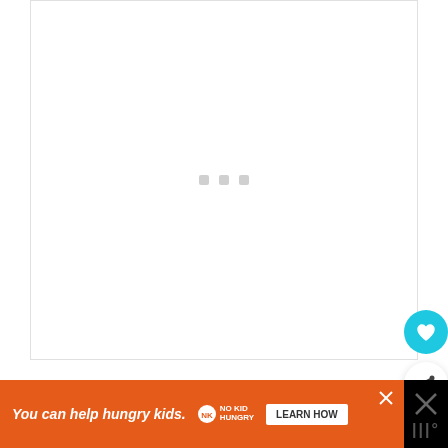[Figure (other): White content area with three small gray loading indicator squares in the center, representing a loading state for an image or media element]
EQUIPMENT
[Figure (other): Orange advertisement banner: 'You can help hungry kids. NO KID HUNGRY LEARN HOW' with close button]